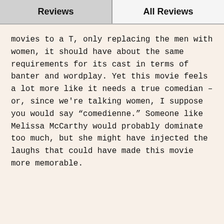Reviews | All Reviews
movies to a T, only replacing the men with women, it should have about the same requirements for its cast in terms of banter and wordplay. Yet this movie feels a lot more like it needs a true comedian – or, since we're talking women, I suppose you would say "comedienne." Someone like Melissa McCarthy would probably dominate too much, but she might have injected the laughs that could have made this movie more memorable.